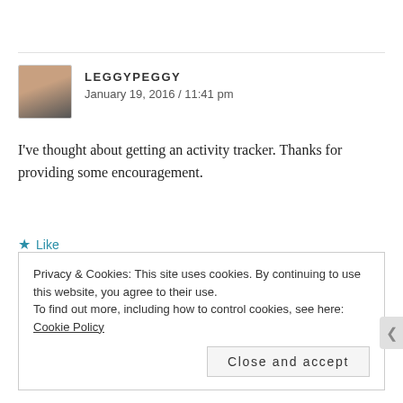[Figure (photo): Avatar photo of user LeggypPeggy — woman with sunglasses]
LEGGYPEGGY
January 19, 2016 / 11:41 pm
I've thought about getting an activity tracker. Thanks for providing some encouragement.
★ Like
↩ Reply
Privacy & Cookies: This site uses cookies. By continuing to use this website, you agree to their use.
To find out more, including how to control cookies, see here: Cookie Policy
Close and accept